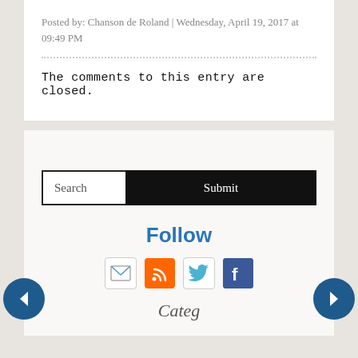Posted by: Chanson de Roland | Wednesday, April 19, 2017 at 09:49 PM
The comments to this entry are closed.
Search
Follow
Categories